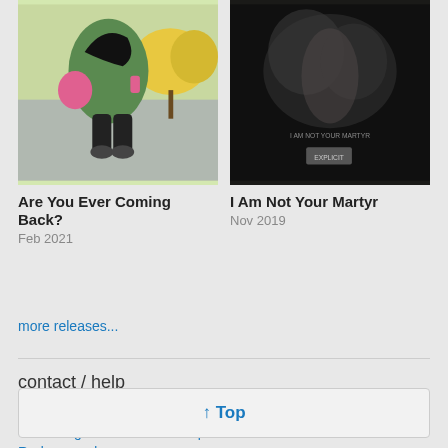[Figure (illustration): Album cover for 'Are You Ever Coming Back?' showing an illustrated figure in a green hoodie with a pink bag, sitting outdoors with yellow trees in the background]
Are You Ever Coming Back?
Feb 2021
[Figure (photo): Album cover for 'I Am Not Your Martyr' showing a dark moody scene with text and explicit content label]
I Am Not Your Martyr
Nov 2019
more releases...
contact / help
Contact Near Mint
Streaming and Download help
Redeem code
Report this track or account
↑ Top